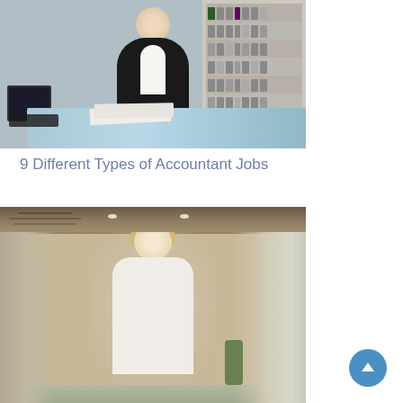[Figure (photo): Professional woman in black blazer sitting at a glass desk with papers and a pen, bookshelves with binders in background]
9 Different Types of Accountant Jobs
[Figure (photo): Smiling blonde woman in white top standing in a modern office corridor with wooden ceiling panels and glass walls]